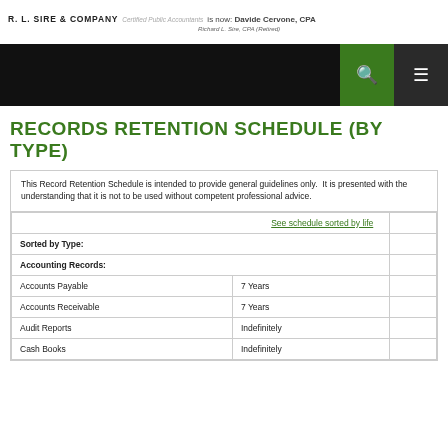R. L. SIRE & COMPANY Certified Public Accountants is now: Davide Cervone, CPA
Richard L. Sire, CPA (Retired)
RECORDS RETENTION SCHEDULE (BY TYPE)
This Record Retention Schedule is intended to provide general guidelines only. It is presented with the understanding that it is not to be used without competent professional advice.
| Type | Retention |  |
| --- | --- | --- |
| See schedule sorted by life |  |  |
| Sorted by Type: |  |  |
| Accounting Records: |  |  |
| Accounts Payable | 7 Years |  |
| Accounts Receivable | 7 Years |  |
| Audit Reports | Indefinitely |  |
| Cash Books | Indefinitely |  |